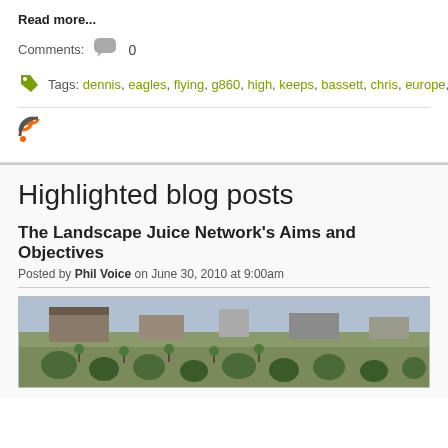Read more...
Comments: 0
Tags: dennis, eagles, flying, g860, high, keeps, bassett, chris, europe, fusion
[Figure (other): RSS feed icon]
Highlighted blog posts
The Landscape Juice Network's Aims and Objectives
Posted by Phil Voice on June 30, 2010 at 9:00am
[Figure (photo): Garden landscape with topiary hedges, stone buildings in background]